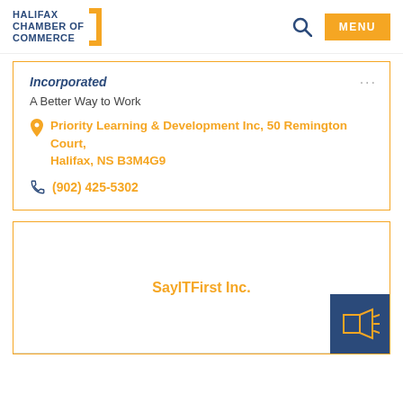Halifax Chamber of Commerce | MENU
Incorporated
A Better Way to Work
Priority Learning & Development Inc, 50 Remington Court, Halifax, NS B3M4G9
(902) 425-5302
SayITFirst Inc.